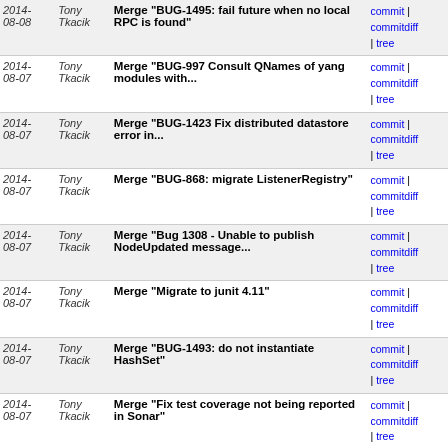| Date | Author | Message | Links |
| --- | --- | --- | --- |
| 2014-08-08 | Tony Tkacik | Merge "BUG-1495: fail future when no local RPC is found" | commit | commitdiff | tree |
| 2014-08-07 | Tony Tkacik | Merge "BUG-997 Consult QNames of yang modules with..." | commit | commitdiff | tree |
| 2014-08-07 | Tony Tkacik | Merge "BUG-1423 Fix distributed datastore error in..." | commit | commitdiff | tree |
| 2014-08-07 | Tony Tkacik | Merge "BUG-868: migrate ListenerRegistry" | commit | commitdiff | tree |
| 2014-08-07 | Tony Tkacik | Merge "Bug 1308 - Unable to publish NodeUpdated message..." | commit | commitdiff | tree |
| 2014-08-07 | Tony Tkacik | Merge "Migrate to junit 4.11" | commit | commitdiff | tree |
| 2014-08-07 | Tony Tkacik | Merge "BUG-1493: do not instantiate HashSet" | commit | commitdiff | tree |
| 2014-08-07 | Tony Tkacik | Merge "Fix test coverage not being reported in Sonar" | commit | commitdiff | tree |
| 2014-08-06 | Tony Tkacik | Merge "Bug 1386: Avoid commit deadlock" | commit | commitdiff | tree |
| 2014-08-06 | Tony Tkacik | Merge "Optimilization the method datastoreNormalizedNodeToCo..." | commit | commitdiff | tree |
| 2014-08-06 | Tony Tkacik | Merge "A little extra protection against nulls in ConfigPusher" | commit | commitdiff | tree |
| 2014-08-06 | Tony Tkacik | Merge changes If78d8143,Id8d04f24 | commit | commitdiff | tree |
| 2014-08-06 | Tony Tkacik | Merge "Bug 1418 - onDataChange notification is not..." | commit | commitdiff | tree |
| 2014- | Tony | Merge "Fix failing IT tests" | commit |